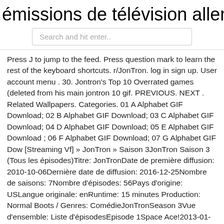émissions de télévision allemandes
Search and hit enter..
Press J to jump to the feed. Press question mark to learn the rest of the keyboard shortcuts. r/JonTron. log in sign up. User account menu . 30. Jontron's Top 10 Overrated games (deleted from his main jontron 10 gif. PREVIOUS. NEXT . Related Wallpapers. Categories. 01 A Alphabet GIF Download; 02 B Alphabet GIF Download; 03 C Alphabet GIF Download; 04 D Alphabet GIF Download; 05 E Alphabet GIF Download ; 06 F Alphabet GIF Download; 07 G Alphabet GIF Dow [Streaming Vf] » JonTron » Saison 3JonTron Saison 3 (Tous les épisodes)Titre: JonTronDate de première diffusion: 2010-10-06Dernière date de diffusion: 2016-12-25Nombre de saisons: 7Nombre d'épisodes: 56Pays d'origine: USLangue originale: enRuntime: 15 minutes Production: Normal Boots / Genres: ComédieJonTronSeason 3Vue d'ensemble: Liste d'épisodesEpisode 1Space Ace!2013-01-29Episode
24/09/2014 · No description available.. For more Action